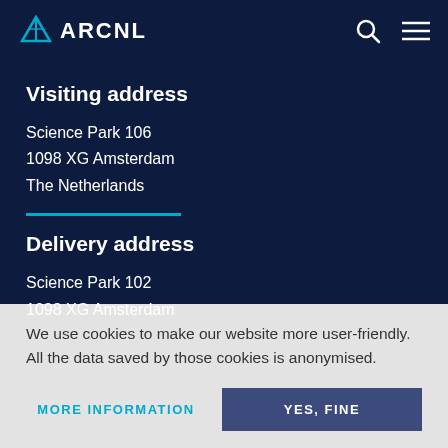ARCNL
Visiting address
Science Park 106
1098 XG Amsterdam
The Netherlands
Delivery address
Science Park 102
1098 XG Amsterdam
We use cookies to make our website more user-friendly. All the data saved by those cookies is anonymised.